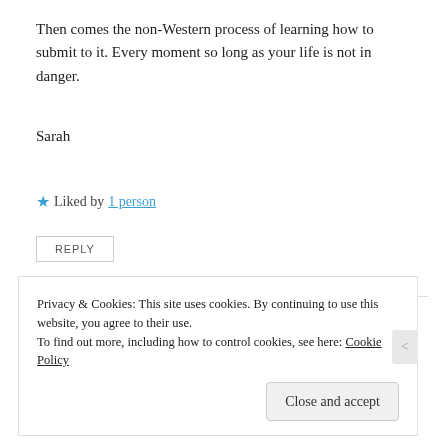Then comes the non-Western process of learning how to submit to it. Every moment so long as your life is not in danger.
Sarah
★ Liked by 1 person
REPLY
argyris446
Privacy & Cookies: This site uses cookies. By continuing to use this website, you agree to their use.
To find out more, including how to control cookies, see here: Cookie Policy
Close and accept